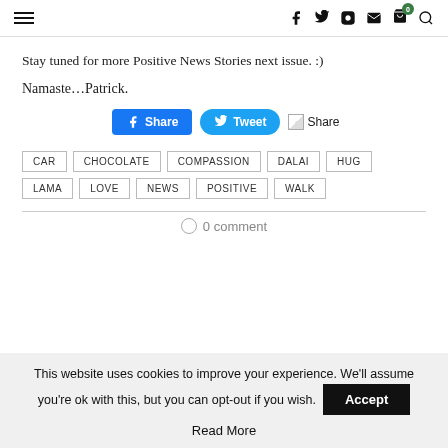Navigation header with hamburger menu and social icons (Facebook, Twitter, Instagram, Email, Cart, Search)
Stay tuned for more Positive News Stories next issue. :)
Namaste…Patrick.
[Figure (other): Share buttons: Facebook Share, Tweet, Share (with image icon)]
CAR
CHOCOLATE
COMPASSION
DALAI
HUG
LAMA
LOVE
NEWS
POSITIVE
WALK
0 comment
This website uses cookies to improve your experience. We'll assume you're ok with this, but you can opt-out if you wish.
Accept
Read More